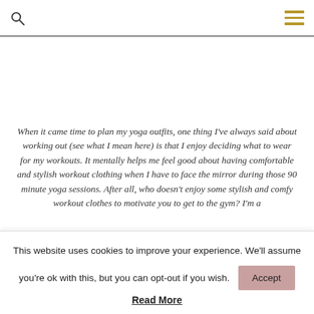[search icon] [menu icon]
When it came time to plan my yoga outfits, one thing I've always said about working out (see what I mean here) is that I enjoy deciding what to wear for my workouts. It mentally helps me feel good about having comfortable and stylish workout clothing when I have to face the mirror during those 90 minute yoga sessions. After all, who doesn't enjoy some stylish and comfy workout clothes to motivate you to get to the gym? I'm a
This website uses cookies to improve your experience. We'll assume you're ok with this, but you can opt-out if you wish.
Read More